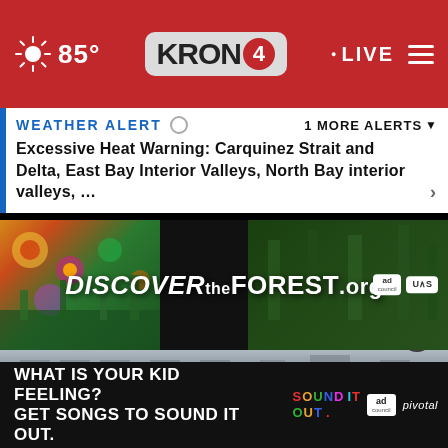85° KRON 4 LIVE
WEATHER ALERT  1 MORE ALERTS
Excessive Heat Warning: Carquinez Strait and Delta, East Bay Interior Valleys, North Bay interior valleys, …
[Figure (screenshot): DiscovertheForest.org ad banner with forest imagery, Ad Council and US Forest Service logos]
[Figure (photo): Blurred airport tarmac scene with airplane tail visible and a blue aircraft in foreground]
[Figure (infographic): Advertisement: WHAT IS YOUR KID FEELING? GET SONGS TO SOUND IT OUT. Sound It Out, Ad Council, Pivotal]